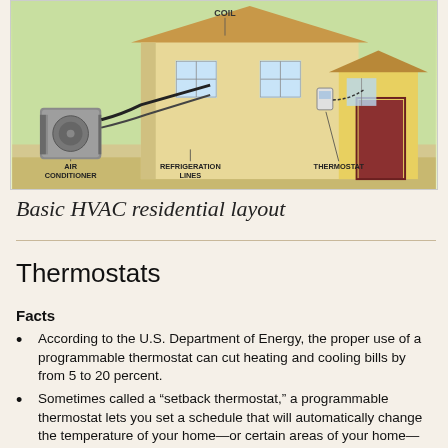[Figure (schematic): Diagram of a basic HVAC residential layout showing a house cross-section with labeled components: COIL (inside the house), AIR CONDITIONER (outdoor unit on the left), REFRIGERATION LINES (connecting outdoor unit to house), and THERMOSTAT (on the interior wall). Background is green gradient representing outdoor environment.]
Basic HVAC residential layout
Thermostats
Facts
According to the U.S. Department of Energy, the proper use of a programmable thermostat can cut heating and cooling bills by from 5 to 20 percent.
Sometimes called a “setback thermostat,” a programmable thermostat lets you set a schedule that will automatically change the temperature of your home—or certain areas of your home—several times during a 24-hour period.